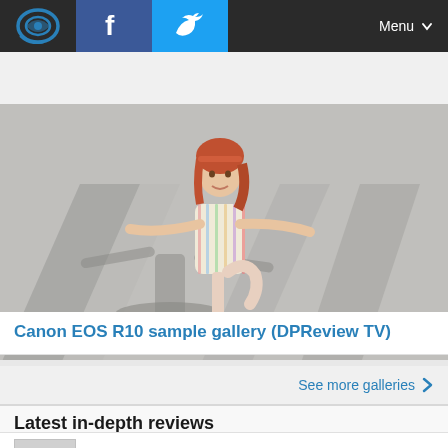DPReview navigation with logo, Facebook, Twitter, Menu
[Figure (photo): Young red-haired girl in striped dress balancing on one leg outdoors on a concrete surface with geometric shadows cast around her. Canon EOS R10 sample gallery photo.]
Canon EOS R10 sample gallery (DPReview TV)
See more galleries
Latest in-depth reviews
DPReviewTV: Blackmagic PCC 6K G2